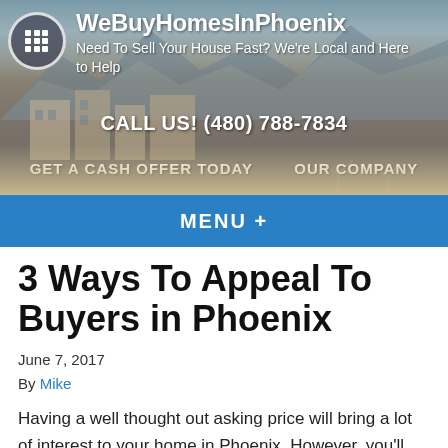[Figure (screenshot): Website header banner with a desert/Phoenix house background image, logo circle with grid icon, site name 'WeBuyHomesInPhoenix', tagline 'Need To Sell Your House Fast? We're Local and Here to Help', phone number 'CALL US! (480) 788-7834', and navigation links 'GET A CASH OFFER TODAY' and 'OUR COMPANY']
MENU +
3 Ways To Appeal To Buyers in Phoenix
June 7, 2017
By Mike
Having a well thought out asking price will bring a lot of interest to your home in Phoenix. However, you'll want to employ some additional tactics in order to really